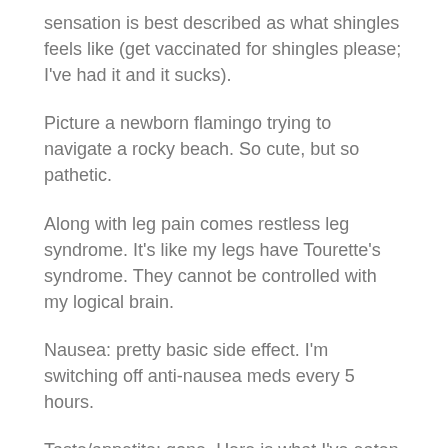sensation is best described as what shingles feels like (get vaccinated for shingles please; I've had it and it sucks).
Picture a newborn flamingo trying to navigate a rocky beach. So cute, but so pathetic.
Along with leg pain comes restless leg syndrome. It's like my legs have Tourette's syndrome. They cannot be controlled with my logical brain.
Nausea: pretty basic side effect. I'm switching off anti-nausea meds every 5 hours.
Taste/appetite: gone. Here is what I've eaten today: small cup of Rice Krispies, handful of fruit, small cup of yogurt, handful of Wheat Thins, small cup of